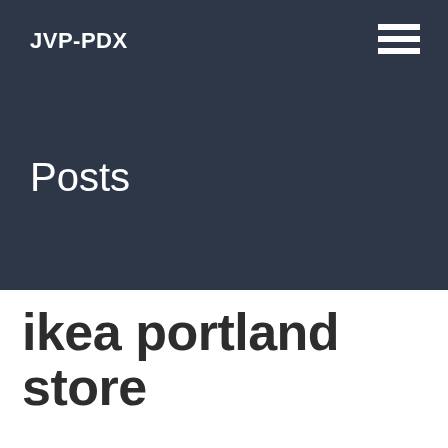JVP-PDX
Posts
ikea portland store